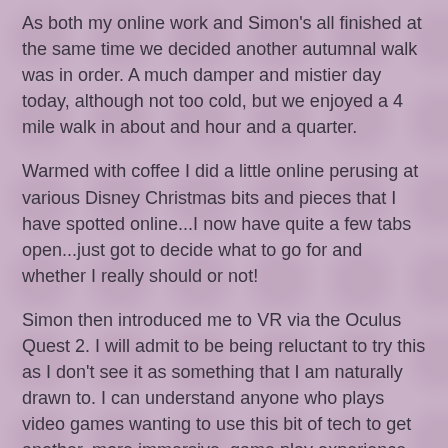As both my online work and Simon's all finished at the same time we decided another autumnal walk was in order. A much damper and mistier day today, although not too cold, but we enjoyed a 4 mile walk in about and hour and a quarter.
Warmed with coffee I did a little online perusing at various Disney Christmas bits and pieces that I have spotted online...I now have quite a few tabs open...just got to decide what to go for and whether I really should or not!
Simon then introduced me to VR via the Oculus Quest 2. I will admit to be being reluctant to try this as I don't see it as something that I am naturally drawn to. I can understand anyone who plays video games wanting to use this bit of tech to get another, more immersive, game play experience but for me...not so much. My extent of 'gaming' is playing daft little puzzle games on my phone for 15 or 20 minutes at a time.
So this afternoon I gave it a go...I tried, honest I did but I really struggled to adapt to it and to understand why I would...